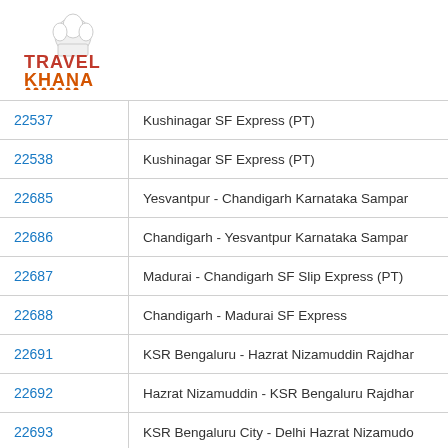[Figure (logo): TravelKhana logo with chef hat icon, orange and brown text]
| Train No. | Train Name |
| --- | --- |
| 22537 | Kushinagar SF Express (PT) |
| 22538 | Kushinagar SF Express (PT) |
| 22685 | Yesvantpur - Chandigarh Karnataka Sampar |
| 22686 | Chandigarh - Yesvantpur Karnataka Sampar |
| 22687 | Madurai - Chandigarh SF Slip Express (PT) |
| 22688 | Chandigarh - Madurai SF Express |
| 22691 | KSR Bengaluru - Hazrat Nizamuddin Rajdhar |
| 22692 | Hazrat Nizamuddin - KSR Bengaluru Rajdhar |
| 22693 | KSR Bengaluru City - Delhi Hazrat Nizamudo |
| 22694 | Delhi Hazrat Nizamuddin - KSR Bengaluru C |